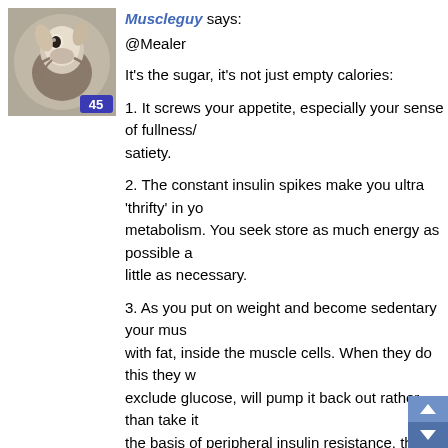[Figure (photo): Avatar image of a user (appears to show a close-up animal/creature photo) with a blue badge showing the number 45]
Muscleguy says:
@Mealer
It's the sugar, it's not just empty calories:
1. It screws your appetite, especially your sense of fullness/satiety.
2. The constant insulin spikes make you ultra 'thrifty' in your metabolism. You seek store as much energy as possible and burn as little as necessary.
3. As you put on weight and become sedentary your muscles fill with fat, inside the muscle cells. When they do this they want to exclude glucose, will pump it back out rather than take it in. This is the basis of peripheral insulin resistance, the precursor to T2D. It also makes you sluggish as burning fat in your muscles takes more oxygen per calorie than burning glycogen.
It's a vicious circle.
When you realise sugar is all over the place including where it shouldn't be. There is sugar in the flavouring on your cris... How else do they get that unholy trinity of fat, salt... your tongue. It's also why there's plenty of salt in